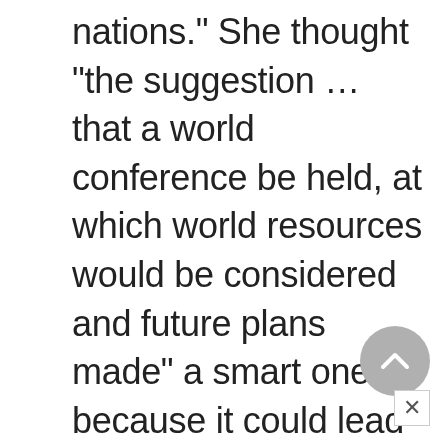nations." She thought "the suggestion … that a world conference be held, at which world resources would be considered and future plans made" a smart one because it could lead to "better production in many lands and better trade facilities … planned to increase the prosperity of many nations. That is almost like world pioneering," she concluded, "and ought to appeal to the adventurous spirit in our own county"³